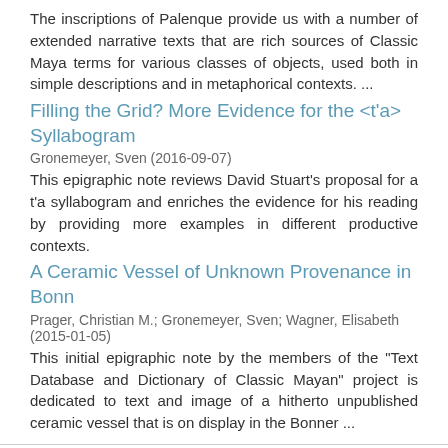The inscriptions of Palenque provide us with a number of extended narrative texts that are rich sources of Classic Maya terms for various classes of objects, used both in simple descriptions and in metaphorical contexts. ...
Filling the Grid? More Evidence for the <t'a> Syllabogram
Gronemeyer, Sven (2016-09-07)
This epigraphic note reviews David Stuart's proposal for a t'a syllabogram and enriches the evidence for his reading by providing more examples in different productive contexts.
A Ceramic Vessel of Unknown Provenance in Bonn
Prager, Christian M.; Gronemeyer, Sven; Wagner, Elisabeth (2015-01-05)
This initial epigraphic note by the members of the "Text Database and Dictionary of Classic Mayan" project is dedicated to text and image of a hitherto unpublished ceramic vessel that is on display in the Bonner ...
Kontakt | Feedback | Impressum
Indexed by